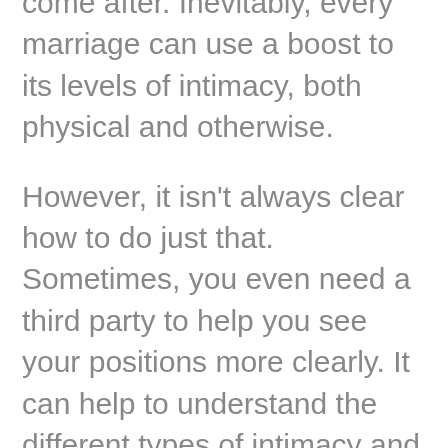come after. Inevitably, every marriage can use a boost to its levels of intimacy, both physical and otherwise.
However, it isn't always clear how to do just that. Sometimes, you even need a third party to help you see your positions more clearly. It can help to understand the different types of intimacy and better recognize the ways they work together. Then, you can craft an increasingly healthy relationship with a newfound connection and spark, whether on your own or with an experienced marriage counselor who is a good fit for the couple counseling or individual therapy you and your